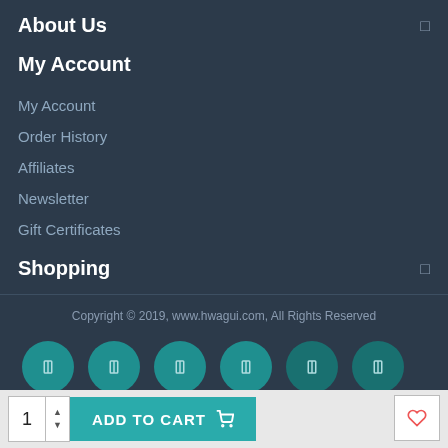About Us
My Account
My Account
Order History
Affiliates
Newsletter
Gift Certificates
Shopping
Copyright © 2019, www.hwagui.com, All Rights Reserved
[Figure (other): Row of 6 teal social media icon circles]
1  ADD TO CART